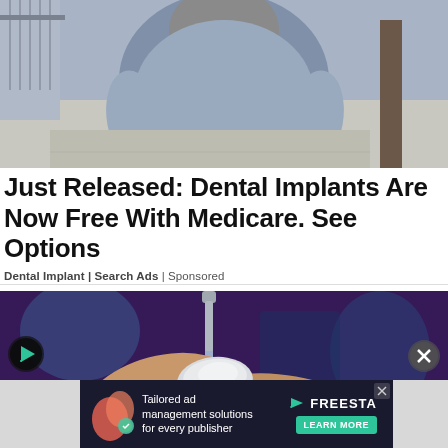[Figure (photo): Woman in grey/blue short-sleeve top walking on sidewalk, torso visible, tree in background]
Just Released: Dental Implants Are Now Free With Medicare. See Options
Dental Implant | Search Ads | Sponsored
[Figure (photo): Hands being rinsed under water faucet with a soap device, purple/dark background]
[Figure (screenshot): Advertisement banner: Tailored ad management solutions for every publisher — FreeSTAR, LEARN MORE button]